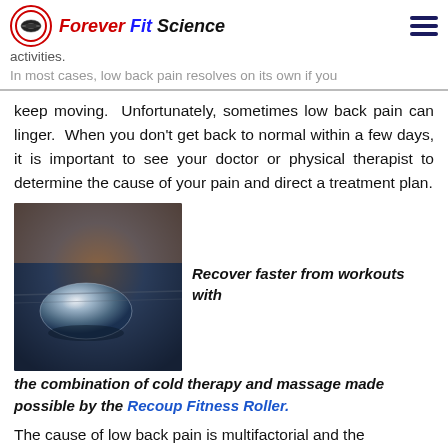Forever Fit Science
activities. In most cases, low back pain resolves on its own if you keep moving.
keep moving.  Unfortunately, sometimes low back pain can linger.  When you don't get back to normal within a few days, it is important to see your doctor or physical therapist to determine the cause of your pain and direct a treatment plan.
[Figure (photo): A close-up photo of a round ice ball or crystal ball on a sandy/icy surface with dark blue moody background, likely a cold therapy roller product or natural scene.]
Recover faster from workouts with the combination of cold therapy and massage made possible by the Recoup Fitness Roller.
The cause of low back pain is multifactorial and the